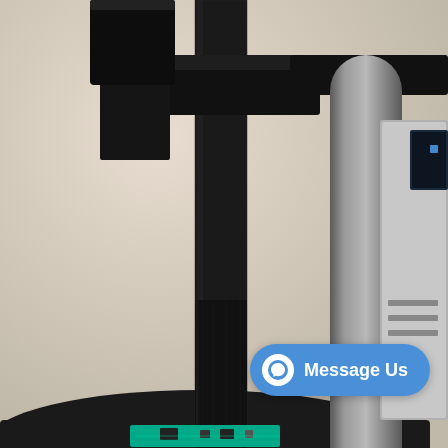[Figure (photo): Close-up photograph of a digital microscope or inspection camera mounted on a black column stand, positioned over a dark flat base/stage. A cylindrical metallic lens barrel is visible. A small green circuit board (PCB) is partially visible at the bottom. A laptop or monitor device is partially visible at the right edge. The background surface is light beige/off-white.]
[Figure (other): Facebook Messenger 'Message Us' button overlay in blue with white messenger lightning bolt icon and white text 'Message Us']